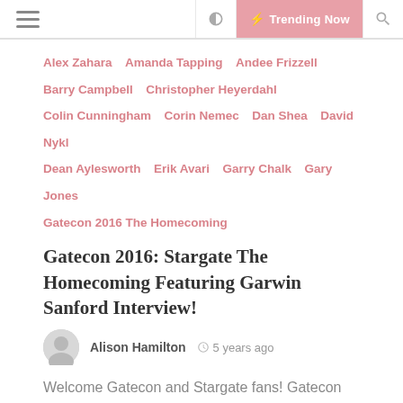≡  ☾  ⚡ Trending Now  🔍
Alex Zahara   Amanda Tapping   Andee Frizzell   Barry Campbell   Christopher Heyerdahl   Colin Cunningham   Corin Nemec   Dan Shea   David Nykl   Dean Aylesworth   Erik Avari   Garry Chalk   Gary Jones   Gatecon 2016 The Homecoming
Gatecon 2016: Stargate The Homecoming Featuring Garwin Sanford Interview!
Alison Hamilton   🕐 5 years ago
Welcome Gatecon and Stargate fans! Gatecon 2016 The Homecoming was a fun filled weekend for Gatecon newcomers and veterans alike. With many Stargate guest panels, photo and autograph sessions, vendors, and various other exciting events throughout the weekend, there was never a dull moment. Day 1 – Thursday 8 September […]